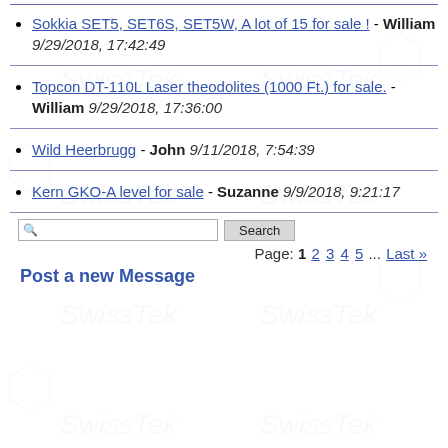Sokkia SET5, SET6S, SET5W, A lot of 15 for sale ! - William 9/29/2018, 17:42:49
Topcon DT-110L Laser theodolites (1000 Ft.) for sale. - William 9/29/2018, 17:36:00
Wild Heerbrugg - John 9/11/2018, 7:54:39
Kern GKO-A level for sale - Suzanne 9/9/2018, 9:21:17
Page: 1 2 3 4 5 ... Last »
Post a new Message